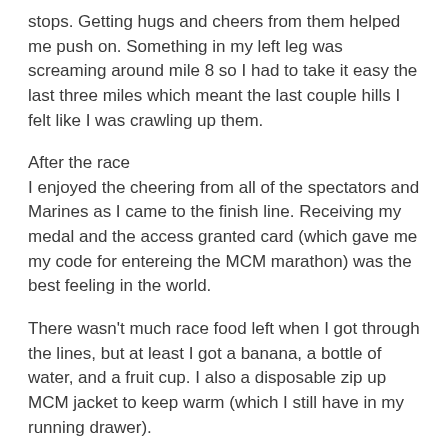stops. Getting hugs and cheers from them helped me push on. Something in my left leg was screaming around mile 8 so I had to take it easy the last three miles which meant the last couple hills I felt like I was crawling up them.
After the race
I enjoyed the cheering from all of the spectators and Marines as I came to the finish line. Receiving my medal and the access granted card (which gave me my code for entereing the MCM marathon) was the best feeling in the world.
There wasn't much race food left when I got through the lines, but at least I got a banana, a bottle of water, and a fruit cup. I also a disposable zip up MCM jacket to keep warm (which I still have in my running drawer).
The gear pickup took forever and most of my friends had left before I got my bag. Oh well I still got a selfie in front of a couple of cool Marine trailers before I hopped on my shuttle back to my car.
Overall Experience
If I was going to be in the area next year, I would so do this